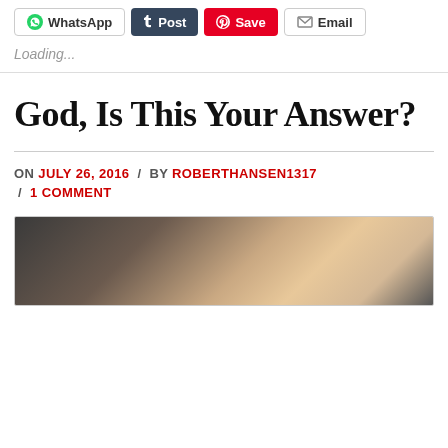[Figure (screenshot): Row of social share buttons: WhatsApp, Post (Tumblr), Save (Pinterest), Email]
Loading...
God, Is This Your Answer?
ON JULY 26, 2016 / BY ROBERTHANSEN1317 / 1 COMMENT
[Figure (photo): Blurred photograph at bottom of page, dark tones with warm highlights]